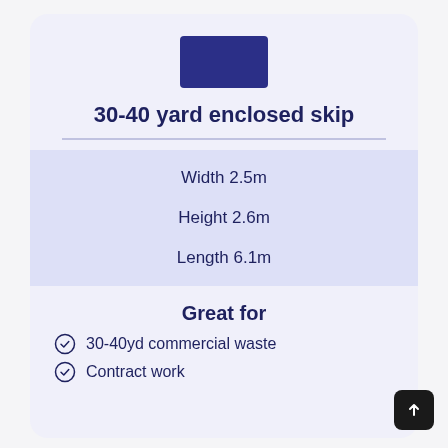[Figure (illustration): Dark navy/indigo rectangular logo or product image block]
30-40 yard enclosed skip
Width 2.5m
Height 2.6m
Length 6.1m
Great for
30-40yd commercial waste
Contract work